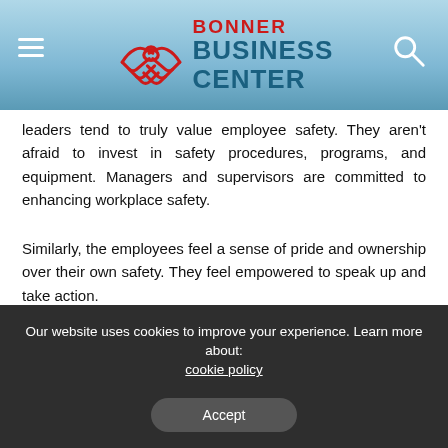[Figure (logo): Bonner Business Center logo with handshake icon, hamburger menu on left, search icon on right, teal gradient background header]
leaders tend to truly value employee safety. They aren't afraid to invest in safety procedures, programs, and equipment. Managers and supervisors are committed to enhancing workplace safety.
Similarly, the employees feel a sense of pride and ownership over their own safety. They feel empowered to speak up and take action.
How to Get Employees Involved in Safety
Our website uses cookies to improve your experience. Learn more about: cookie policy
Accept